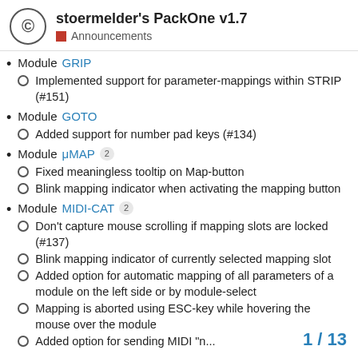stoermelder's PackOne v1.7 — Announcements
Module GRIP
Implemented support for parameter-mappings within STRIP (#151)
Module GOTO
Added support for number pad keys (#134)
Module μMAP 2
Fixed meaningless tooltip on Map-button
Blink mapping indicator when activating the mapping button
Module MIDI-CAT 2
Don't capture mouse scrolling if mapping slots are locked (#137)
Blink mapping indicator of currently selected mapping slot
Added option for automatic mapping of all parameters of a module on the left side or by module-select
Mapping is aborted using ESC-key while hovering the mouse over the module
Added option for sending MIDI "n...
1 / 13